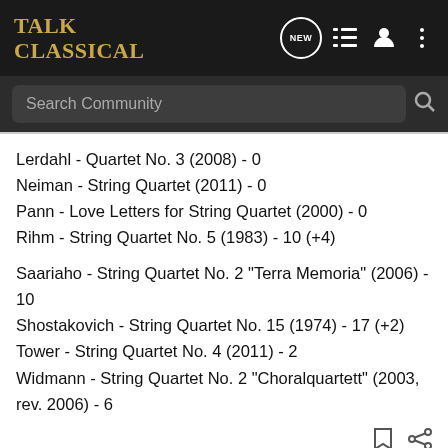TalkClassical — navigation bar with logo, NEW, list, user, and menu icons
Search Community
Lerdahl - Quartet No. 3 (2008) - 0
Neiman - String Quartet (2011) - 0
Pann - Love Letters for String Quartet (2000) - 0
Rihm - String Quartet No. 5 (1983) - 10 (+4)
Saariaho - String Quartet No. 2 "Terra Memoria" (2006) - 10
Shostakovich - String Quartet No. 15 (1974) - 17 (+2)
Tower - String Quartet No. 4 (2011) - 2
Widmann - String Quartet No. 2 "Choralquartett" (2003, rev. 2006) - 6
Bulldog · Premium Member 🇺🇸